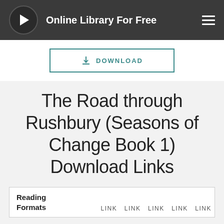Online Library For Free
DOWNLOAD
The Road through Rushbury (Seasons of Change Book 1) Download Links
| Reading Formats | LINK | LINK | LINK | LINK | LINK |
| --- | --- | --- | --- | --- | --- |